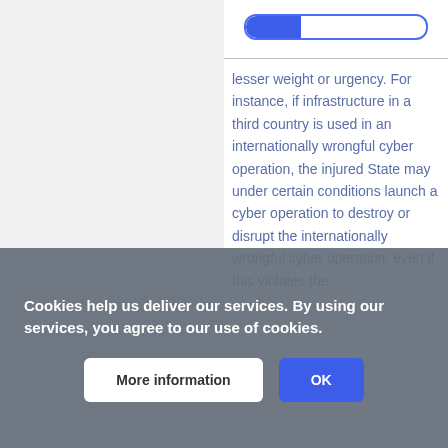[Figure (other): Progress bar showing partial completion, blue fill on left portion of white bar with blue border]
lesser weight or urgency. For instance, if infrastructure in a third country is used in an internationally wrongful cyber operation, the injured State may under certain conditions launch a cyber operation to destroy or disrupt the internationally wrongful cyber operation, even if this violates the territorial sovereignty of the third State, under id and ain
Cookies help us deliver our services. By using our services, you agree to our use of cookies.
More information
OK